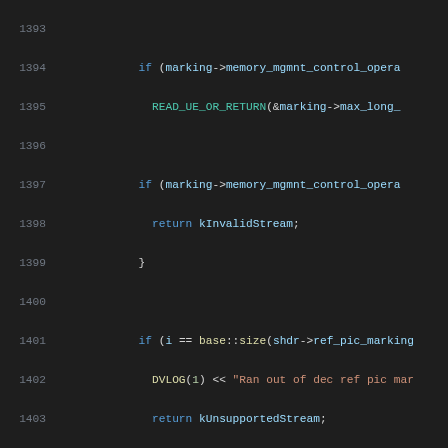Source code listing lines 1393-1414, C++ code for H264 parser
1393: (blank)
1394:             if (marking->memory_mgmnt_control_opera
1395:               READ_UE_OR_RETURN(&marking->max_long_
1396: (blank)
1397:             if (marking->memory_mgmnt_control_opera
1398:               return kInvalidStream;
1399:             }
1400: (blank)
1401:             if (i == base::size(shdr->ref_pic_marking
1402:               DVLOG(1) << "Ran out of dec ref pic mar
1403:               return kUnsupportedStream;
1404:             }
1405:           }
1406:         }
1407: (blank)
1408:         shdr->dec_ref_pic_marking_bit_size = bits_lef
1409:         return kOk;
1410:       }
1411: (blank)
1412:       H264Parser::Result H264Parser::ParseSliceHeader
1413: (blank)
1414:       // S...